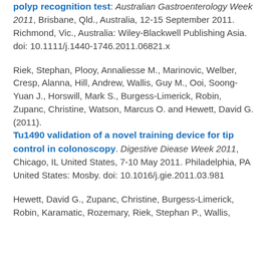polyp recognition test. Australian Gastroenterology Week 2011, Brisbane, Qld., Australia, 12-15 September 2011. Richmond, Vic., Australia: Wiley-Blackwell Publishing Asia. doi: 10.1111/j.1440-1746.2011.06821.x
Riek, Stephan, Plooy, Annaliesse M., Marinovic, Welber, Cresp, Alanna, Hill, Andrew, Wallis, Guy M., Ooi, Soong-Yuan J., Horswill, Mark S., Burgess-Limerick, Robin, Zupanc, Christine, Watson, Marcus O. and Hewett, David G. (2011). Tu1490 validation of a novel training device for tip control in colonoscopy. Digestive Diease Week 2011, Chicago, IL United States, 7-10 May 2011. Philadelphia, PA United States: Mosby. doi: 10.1016/j.gie.2011.03.981
Hewett, David G., Zupanc, Christine, Burgess-Limerick, Robin, Karamatic, Rozemary, Riek, Stephan P., Wallis,